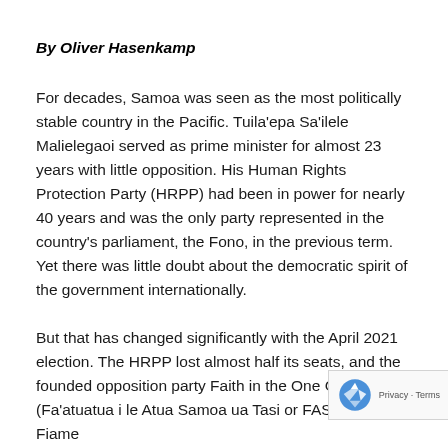By Oliver Hasenkamp
For decades, Samoa was seen as the most politically stable country in the Pacific. Tuila'epa Sa'ilele Malielegaoi served as prime minister for almost 23 years with little opposition. His Human Rights Protection Party (HRPP) had been in power for nearly 40 years and was the only party represented in the country's parliament, the Fono, in the previous term. Yet there was little doubt about the democratic spirit of the government internationally.
But that has changed significantly with the April 2021 election. The HRPP lost almost half its seats, and the newly founded opposition party Faith in the One God of Samoa (Fa'atuatua i le Atua Samoa ua Tasi or FAST), led by Fiame…